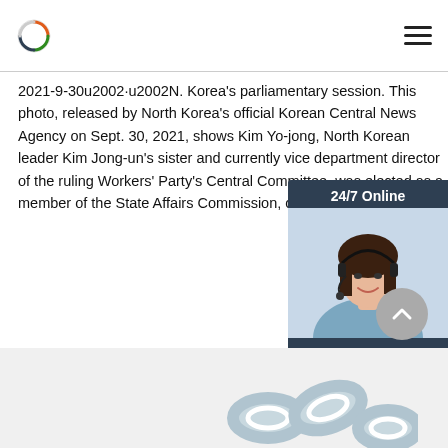2021-9-30u2002·u2002N. Korea's parliamentary session. This photo, released by North Korea's official Korean Central News Agency on Sept. 30, 2021, shows Kim Yo-jong, North Korean leader Kim Jong-un's sister and currently vice department director of the ruling Workers' Party's Central Committee, was elected as a member of the State Affairs Commission, country's ...
[Figure (other): Chat widget with 24/7 Online banner, photo of smiling woman with headset, 'Click here for free chat!' text, and orange QUOTATION button]
Get Price
[Figure (other): Gray scroll-to-top circular button with upward chevron]
[Figure (photo): Partial image of metal chain links at bottom of page]